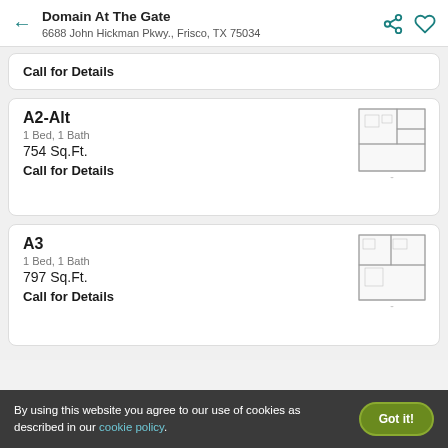Domain At The Gate
6688 John Hickman Pkwy., Frisco, TX 75034
Call for Details
A2-Alt
1 Bed, 1 Bath
754 Sq.Ft.
Call for Details
[Figure (illustration): Floor plan thumbnail for A2-Alt unit]
A3
1 Bed, 1 Bath
797 Sq.Ft.
Call for Details
[Figure (illustration): Floor plan thumbnail for A3 unit]
By using this website you agree to our use of cookies as described in our cookie policy.